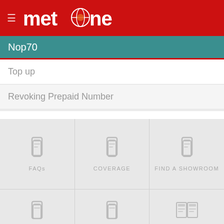metfone
Nop70
Top up
Revoking Prepaid Number
[Figure (screenshot): 3x2 grid of navigation icons: FAQs, COVERAGE, FIND A SHOWROOM, CAREERS, NEWS, EMAIL US - each with a phone/icon symbol above the label]